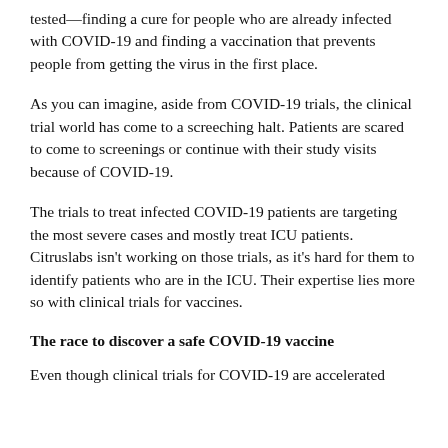tested—finding a cure for people who are already infected with COVID-19 and finding a vaccination that prevents people from getting the virus in the first place.
As you can imagine, aside from COVID-19 trials, the clinical trial world has come to a screeching halt. Patients are scared to come to screenings or continue with their study visits because of COVID-19.
The trials to treat infected COVID-19 patients are targeting the most severe cases and mostly treat ICU patients. Citruslabs isn't working on those trials, as it's hard for them to identify patients who are in the ICU. Their expertise lies more so with clinical trials for vaccines.
The race to discover a safe COVID-19 vaccine
Even though clinical trials for COVID-19 are accelerated